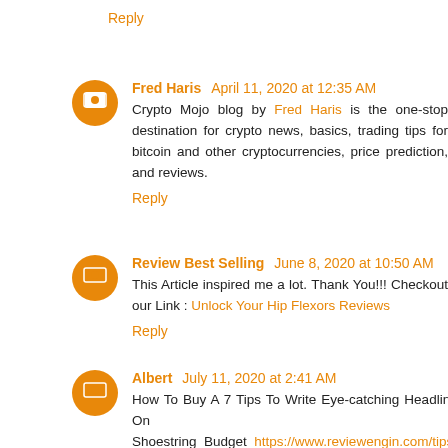Reply
Fred Haris April 11, 2020 at 12:35 AM
Crypto Mojo blog by Fred Haris is the one-stop destination for crypto news, basics, trading tips for bitcoin and other cryptocurrencies, price prediction, and reviews.
Reply
Review Best Selling June 8, 2020 at 10:50 AM
This Article inspired me a lot. Thank You!!! Checkout our Link : Unlock Your Hip Flexors Reviews
Reply
Albert July 11, 2020 at 2:41 AM
How To Buy A 7 Tips To Write Eye-catching Headline On A Shoestring Budget https://www.reviewengin.com/tips-to-